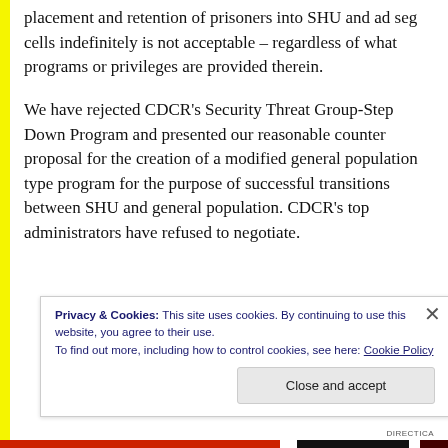placement and retention of prisoners into SHU and ad seg cells indefinitely is not acceptable – regardless of what programs or privileges are provided therein.
We have rejected CDCR's Security Threat Group-Step Down Program and presented our reasonable counter proposal for the creation of a modified general population type program for the purpose of successful transitions between SHU and general population. CDCR's top administrators have refused to negotiate.
Privacy & Cookies: This site uses cookies. By continuing to use this website, you agree to their use.
To find out more, including how to control cookies, see here: Cookie Policy